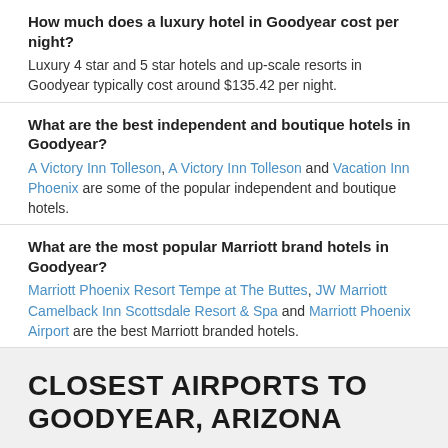How much does a luxury hotel in Goodyear cost per night?
Luxury 4 star and 5 star hotels and up-scale resorts in Goodyear typically cost around $135.42 per night.
What are the best independent and boutique hotels in Goodyear?
A Victory Inn Tolleson, A Victory Inn Tolleson and Vacation Inn Phoenix are some of the popular independent and boutique hotels.
What are the most popular Marriott brand hotels in Goodyear?
Marriott Phoenix Resort Tempe at The Buttes, JW Marriott Camelback Inn Scottsdale Resort & Spa and Marriott Phoenix Airport are the best Marriott branded hotels.
CLOSEST AIRPORTS TO GOODYEAR, ARIZONA
Find which airports to fly into and book Goodyear airport hotels.